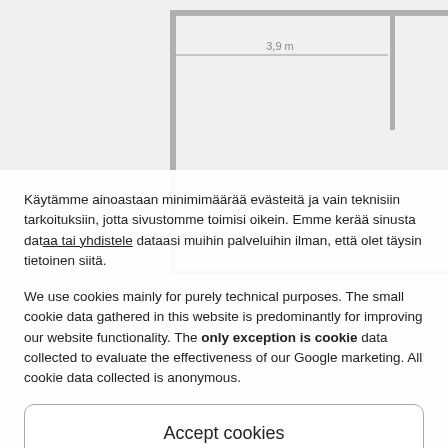[Figure (engineering-diagram): Faded floor plan diagram in background showing room dimensions (3.9 m, 2.9 m), labels for Keittiö (kitchen), Päiväsali (day room), and other architectural markings.]
Käytämme ainoastaan minimimäärää evästeitä ja vain teknisiin tarkoituksiin, jotta sivustomme toimisi oikein. Emme kerää sinusta dataa tai yhdistele dataasi muihin palveluihin ilman, että olet täysin tietoinen siitä.
We use cookies mainly for purely technical purposes. The small cookie data gathered in this website is predominantly for improving our website functionality. The only exception is cookie data collected to evaluate the effectiveness of our Google marketing. All cookie data collected is anonymous.
Accept cookies
Deny
Näytä asetukset
Evästekäytännöt   Tietosuojaseloste